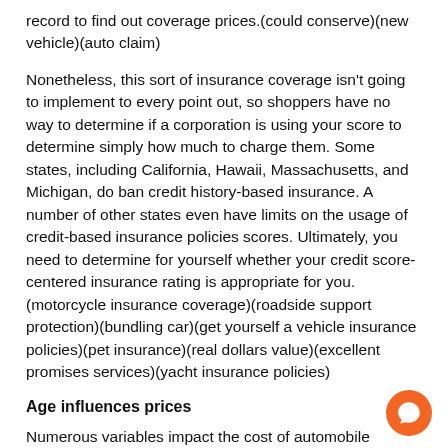record to find out coverage prices.(could conserve)(new vehicle)(auto claim)
Nonetheless, this sort of insurance coverage isn't going to implement to every point out, so shoppers have no way to determine if a corporation is using your score to determine simply how much to charge them. Some states, including California, Hawaii, Massachusetts, and Michigan, do ban credit history-based insurance. A number of other states even have limits on the usage of credit-based insurance policies scores. Ultimately, you need to determine for yourself whether your credit score-centered insurance rating is appropriate for you.(motorcycle insurance coverage)(roadside support protection)(bundling car)(get yourself a vehicle insurance policies)(pet insurance)(real dollars value)(excellent promises services)(yacht insurance policies)
Age influences prices
Numerous variables impact the cost of automobile insurance, including location, together with a number of factors...